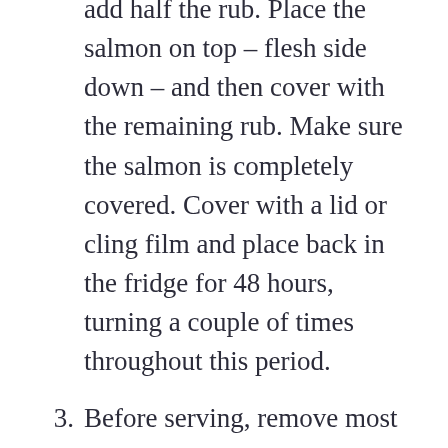add half the rub. Place the salmon on top – flesh side down – and then cover with the remaining rub. Make sure the salmon is completely covered. Cover with a lid or cling film and place back in the fridge for 48 hours, turning a couple of times throughout this period.
3. Before serving, remove most of the rub by gently running it under some cold water. Pat dry with kitchen paper. You want some of the dill to remain on the salmon.